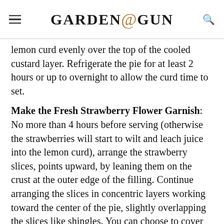GARDEN & GUN
lemon curd evenly over the top of the cooled custard layer. Refrigerate the pie for at least 2 hours or up to overnight to allow the curd time to set.
Make the Fresh Strawberry Flower Garnish: No more than 4 hours before serving (otherwise the strawberries will start to wilt and leach juice into the lemon curd), arrange the strawberry slices, points upward, by leaning them on the crust at the outer edge of the filling. Continue arranging the slices in concentric layers working toward the center of the pie, slightly overlapping the slices like shingles. You can choose to cover the entire top of the pie with strawberry slices or